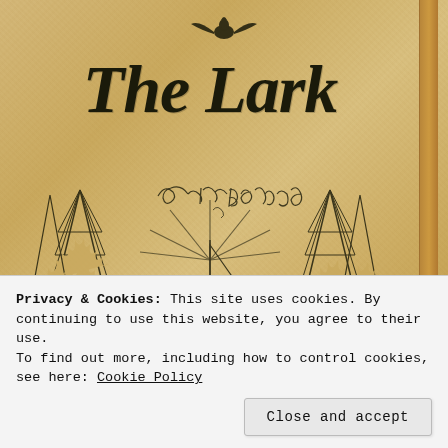[Figure (illustration): Book cover of 'The Lark' — aged tan/yellow background with a bird at the top center, large decorative blackletter title 'The Lark', a handwritten signature 'Gelett Burgess', and an illustration of two tall pine trees flanking a sailing boat / sunburst scene at the bottom.]
Privacy & Cookies: This site uses cookies. By continuing to use this website, you agree to their use.
To find out more, including how to control cookies, see here: Cookie Policy
Close and accept